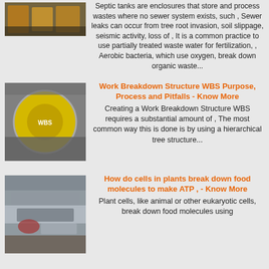[Figure (photo): Close-up photo of what appears to be orange/yellow items in a container]
Septic tanks are enclosures that store and process wastes where no sewer system exists, such , Sewer leaks can occur from tree root invasion, soil slippage, seismic activity, loss of , It is a common practice to use partially treated waste water for fertilization, , Aerobic bacteria, which use oxygen, break down organic waste...
[Figure (photo): Photo of industrial machinery with a yellow circular component]
Work Breakdown Structure WBS Purpose, Process and Pitfalls - Know More
Creating a Work Breakdown Structure WBS requires a substantial amount of , The most common way this is done is by using a hierarchical tree structure...
[Figure (photo): Photo of an industrial warehouse or factory interior with large machinery]
How do cells in plants break down food molecules to make ATP , - Know More
Plant cells, like animal or other eukaryotic cells, break down food molecules using